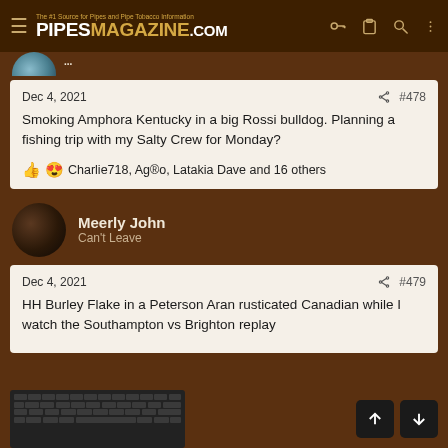PIPESMAGAZINE.COM - The #1 Source for Pipes and Pipe Tobacco Information
Dec 4, 2021  #478
Smoking Amphora Kentucky in a big Rossi bulldog. Planning a fishing trip with my Salty Crew for Monday?
Charlie718, Ag®o, Latakia Dave and 16 others
Meerly John
Can't Leave
Dec 4, 2021  #479
HH Burley Flake in a Peterson Aran rusticated Canadian while I watch the Southampton vs Brighton replay
[Figure (photo): Photo of a computer keyboard, dark colored, partially visible at the bottom of the page]